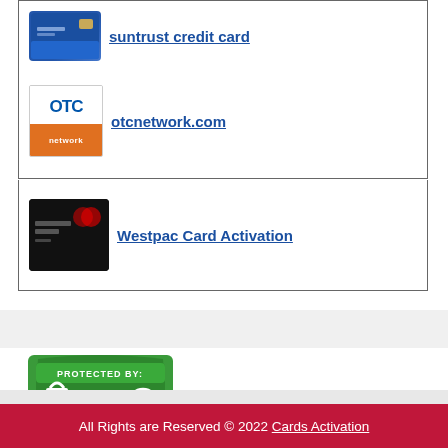suntrust credit card
otcnetwork.com
Westpac Card Activation
[Figure (logo): DMCA Protected badge - green shield with padlock and DMCA text]
All Rights are Reserved © 2022 Cards Activation